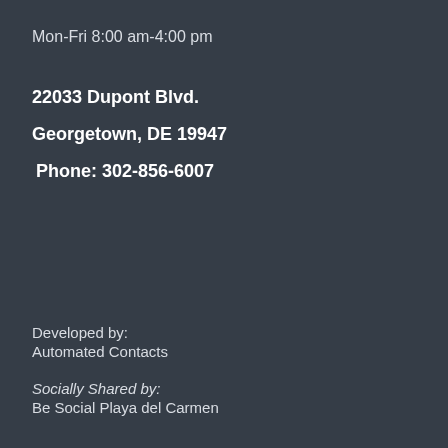Mon-Fri 8:00 am-4:00 pm
22033 Dupont Blvd.
Georgetown, DE 19947
Phone: 302-856-6007
Developed by:
Automated Contacts
Socially Shared by:
Be Social Playa del Carmen